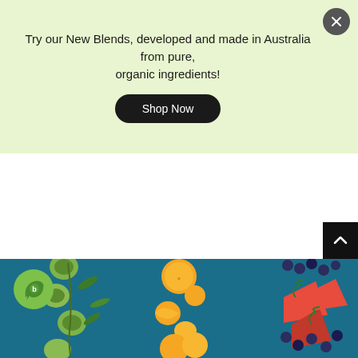Try our New Blends, developed and made in Australia from pure, organic ingredients!
Shop Now
[Figure (photo): Three columns of fruits on a teal background: left column shows kiwi fruits and leaves with a green circular logo overlay, center column shows oranges and sliced citrus, right column shows strawberries and blueberries.]